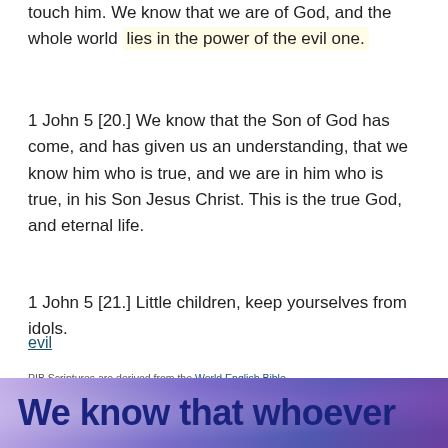touch him. We know that we are of God, and the whole world lies in the power of the evil one.
1 John 5 [20.] We know that the Son of God has come, and has given us an understanding, that we know him who is true, and we are in him who is true, in his Son Jesus Christ. This is the true God, and eternal life.
1 John 5 [21.] Little children, keep yourselves from idols.
evil
PIB Scriptures are derived from the World English Bible
We know that whoever